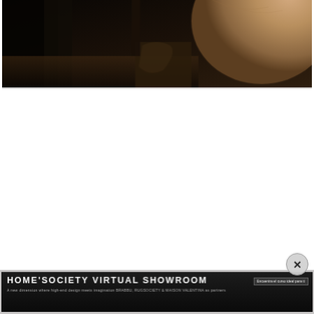[Figure (photo): Partial view of a dark interior with a beige/tan rounded object (possibly a sofa or ottoman) in the upper right, dark furniture or background on the left, dimly lit interior scene]
[Figure (infographic): HOME'SOCIETY VIRTUAL SHOWROOM advertisement banner at the bottom. Dark background with white bold text. Subtitle: A new dimension where high-end design meets imagination BRABBU, RUGSOCIETY & MAISON VALENTINA as partners. A close button (X) appears above the banner.]